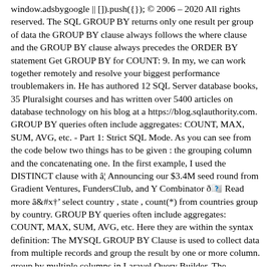window.adsbygoogle || []).push({}); © 2006 – 2020 All rights reserved. The SQL GROUP BY returns only one result per group of data the GROUP BY clause always follows the where clause and the GROUP BY clause always precedes the ORDER BY statement Get GROUP BY for COUNT: 9. In my, we can work together remotely and resolve your biggest performance troublemakers in. He has authored 12 SQL Server database books, 35 Pluralsight courses and has written over 5400 articles on database technology on his blog at a https://blog.sqlauthority.com. GROUP BY queries often include aggregates: COUNT, MAX, SUM, AVG, etc. - Part 1: Strict SQL Mode. As you can see from the code below two things has to be given : the grouping column and the concatenating one. In the first example, I used the DISTINCT clause with â¦ Announcing our $3.4M seed round from Gradient Ventures, FundersClub, and Y Combinator ð Read more â select country , state , count(*) from countries group by country. GROUP BY queries often include aggregates: COUNT, MAX, SUM, AVG, etc. Here they are within the syntax definition: The MYSQL GROUP BY Clause is used to collect data from multiple records and group the result by one or more column. group by multiple columns in Laravel Query Builder. The following code calculates the Customer_Data by two columns Name and Address: SELECT Name, Address, SUM(Salary) FROM `customer_data` GROUP BY Name, Address; Output: Now, adding ROLLUP to the above SQL GROUP BY Statement: